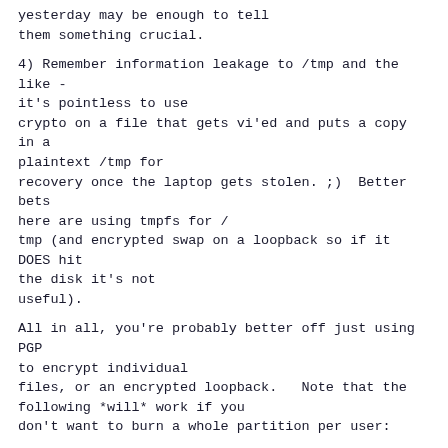yesterday may be enough to tell
them something crucial.
4) Remember information leakage to /tmp and the like - it's pointless to use
crypto on a file that gets vi'ed and puts a copy in a plaintext /tmp for
recovery once the laptop gets stolen. ;)  Better bets here are using tmpfs for /
tmp (and encrypted swap on a loopback so if it DOES hit the disk it's not
useful).
All in all, you're probably better off just using PGP to encrypt individual
files, or an encrypted loopback.   Note that the following *will* work if you
don't want to burn a whole partition per user:
mkdir /crypto
mkdir /crypto/${USER}
chown ${USER} /crypto/${USER}
mkdir ~user/.crypto
dd if=/dev/zero of=~user/.crypto/diskfile bz=1M count=20
losetup -e AES ~user/.crypt/diskfile
mkfs /dev/loop/0
After that, 'mount -o loop ecryption=aes